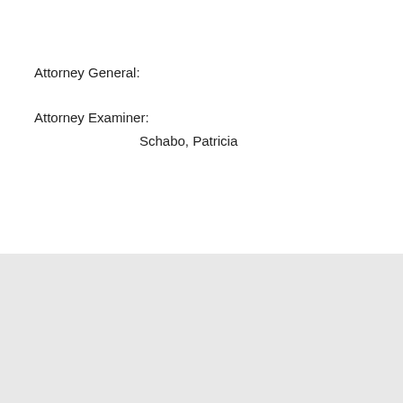Attorney General:
Attorney Examiner:
Schabo, Patricia
PUCO.Ohio.gov | DIS Home
Ohio.gov | State Agencies